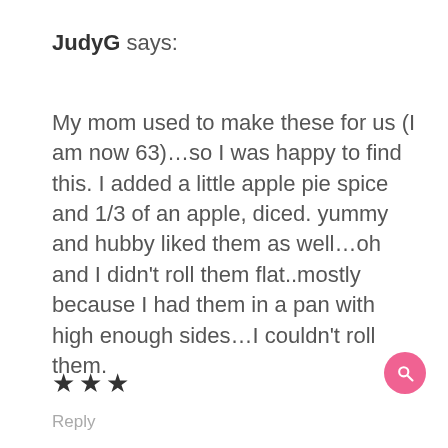JudyG says:
My mom used to make these for us (I am now 63)…so I was happy to find this. I added a little apple pie spice and 1/3 of an apple, diced. yummy and hubby liked them as well…oh and I didn't roll them flat..mostly because I had them in a pan with high enough sides…I couldn't roll them.
★★★
Reply